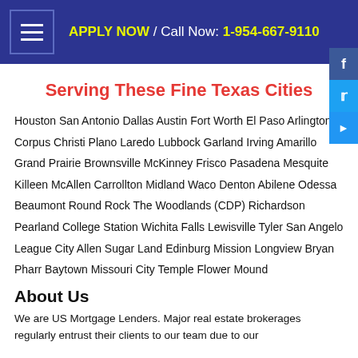APPLY NOW / Call Now: 1-954-667-9110
Serving These Fine Texas Cities
Houston San Antonio Dallas Austin Fort Worth El Paso Arlington Corpus Christi Plano Laredo Lubbock Garland Irving Amarillo Grand Prairie Brownsville McKinney Frisco Pasadena Mesquite Killeen McAllen Carrollton Midland Waco Denton Abilene Odessa Beaumont Round Rock The Woodlands (CDP) Richardson Pearland College Station Wichita Falls Lewisville Tyler San Angelo League City Allen Sugar Land Edinburg Mission Longview Bryan Pharr Baytown Missouri City Temple Flower Mound
About Us
We are US Mortgage Lenders. Major real estate brokerages regularly entrust their clients to our team due to our